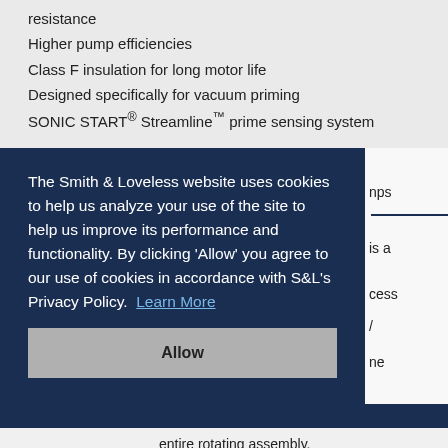resistance
Higher pump efficiencies
Class F insulation for long motor life
Designed specifically for vacuum priming
SONIC START® Streamline™ prime sensing system
The Smith & Loveless website uses cookies to help us analyze your use of the site to help us improve its performance and functionality. By clicking 'Allow' you agree to our use of cookies in accordance with S&L's Privacy Policy. Learn More
Allow
nps
is a
ccess
ne
entire rotating assembly.